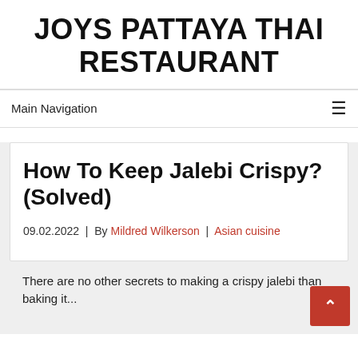JOYS PATTAYA THAI RESTAURANT
Main Navigation
How To Keep Jalebi Crispy? (Solved)
09.02.2022  |  By Mildred Wilkerson  |  Asian cuisine
There are no other secrets to making a crispy jalebi than baking it...